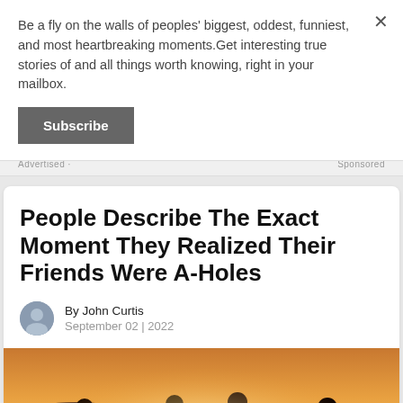Be a fly on the walls of peoples' biggest, oddest, funniest, and most heartbreaking moments.Get interesting true stories of and all things worth knowing, right in your mailbox.
Subscribe
Advertised · Sponsored
People Describe The Exact Moment They Realized Their Friends Were A-Holes
By John Curtis
September 02 | 2022
[Figure (photo): Silhouettes of people sitting together outdoors against a warm sunset background with hills]